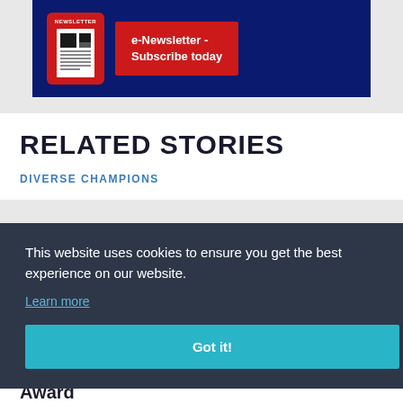[Figure (screenshot): Newsletter subscription banner with dark navy background, newsletter icon in red rounded square on left, and red 'e-Newsletter - Subscribe today' button on right]
RELATED STORIES
DIVERSE CHAMPIONS
This website uses cookies to ensure you get the best experience on our website.
Learn more
Got it!
Award